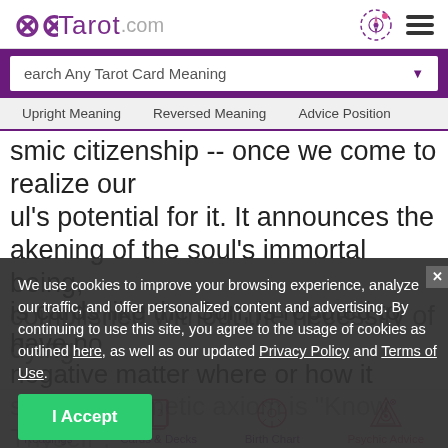Tarot.com
earch Any Tarot Card Meaning
Upright Meaning   Reversed Meaning   Advice Position
smic citizenship -- once we come to realize our ul's potential for it. It announces the akening of the soul's immortal being, complished without the necessity of dying. is cards like the Sun, is reputed to have no negative matter where or how it self the Hermetic axiom is "Know Thyself", resents what becomes known
We use cookies to improve your browsing experience, analyze our traffic, and offer personalized content and advertising. By continuing to use this site, you agree to the usage of cookies as outlined here, as well as our updated Privacy Policy and Terms of Use.
I Accept
Readings   Cards & Decks   Birth Chart   Psychic Advice